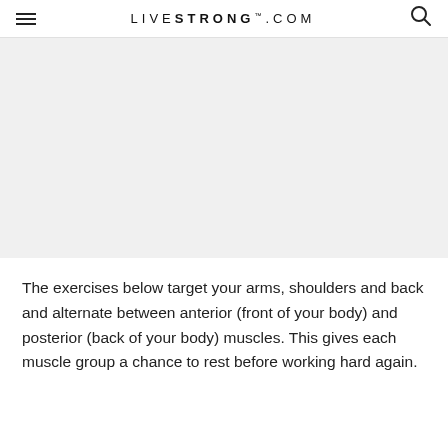LIVESTRONG.COM
[Figure (photo): Gray placeholder image area for a fitness/exercise photo]
The exercises below target your arms, shoulders and back and alternate between anterior (front of your body) and posterior (back of your body) muscles. This gives each muscle group a chance to rest before working hard again.